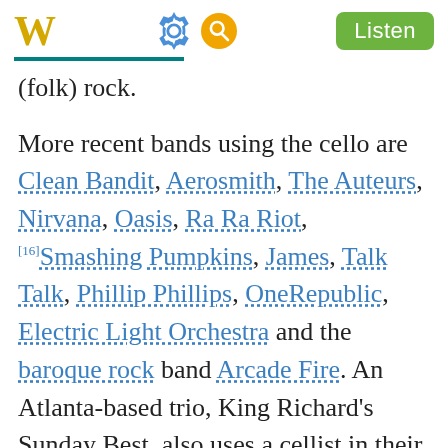W [gear icon] [search icon] Listen
(folk) rock.
More recent bands using the cello are Clean Bandit, Aerosmith, The Auteurs, Nirvana, Oasis, Ra Ra Riot,[16] Smashing Pumpkins, James, Talk Talk, Phillip Phillips, OneRepublic, Electric Light Orchestra and the baroque rock band Arcade Fire. An Atlanta-based trio, King Richard's Sunday Best, also uses a cellist in their lineup. So-called "chamber pop"